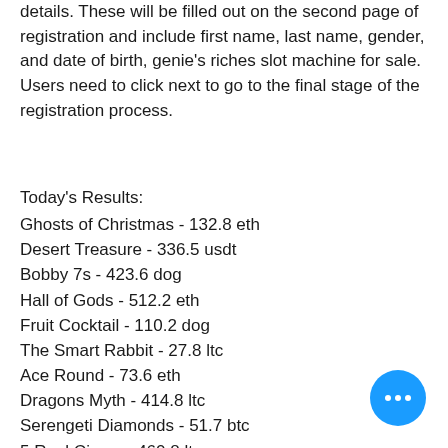details. These will be filled out on the second page of registration and include first name, last name, gender, and date of birth, genie's riches slot machine for sale. Users need to click next to go to the final stage of the registration process.
Today's Results:
Ghosts of Christmas - 132.8 eth
Desert Treasure - 336.5 usdt
Bobby 7s - 423.6 dog
Hall of Gods - 512.2 eth
Fruit Cocktail - 110.2 dog
The Smart Rabbit - 27.8 ltc
Ace Round - 73.6 eth
Dragons Myth - 414.8 ltc
Serengeti Diamonds - 51.7 btc
5 Reel Circus - 460.8 ltc
Keks - 6.2 ltc
Toki Time - 705.1 bch
Spellcraft - 491.6 ltc